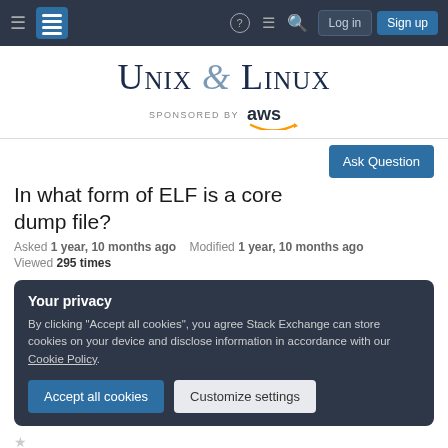Unix & Linux — SPONSORED BY aws — Navigation bar with Log in and Sign up
UNIX & LINUX
SPONSORED BY aws
Ask Question
In what form of ELF is a core dump file?
Asked 1 year, 10 months ago   Modified 1 year, 10 months ago
Viewed 295 times
Your privacy
By clicking "Accept all cookies", you agree Stack Exchange can store cookies on your device and disclose information in accordance with our Cookie Policy.
Accept all cookies   Customize settings